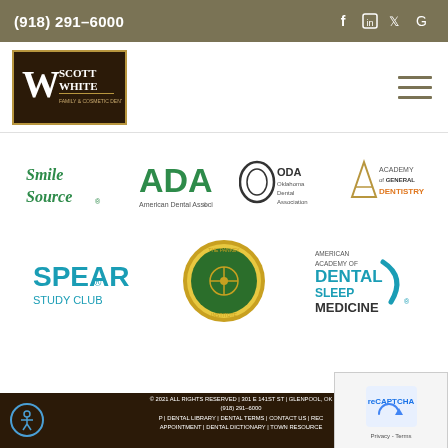(918) 291-6000
[Figure (logo): W Scott White Family & Cosmetic Dentistry logo on dark background]
[Figure (logo): Smile Source logo in green script]
[Figure (logo): ADA American Dental Association logo in green]
[Figure (logo): ODA Oklahoma Dental Association logo]
[Figure (logo): Academy of General Dentistry logo]
[Figure (logo): SPEAR Study Club logo in teal]
[Figure (logo): The Pankey Institute circular medallion logo]
[Figure (logo): American Academy of Dental Sleep Medicine logo]
© 2021 ALL RIGHTS RESERVED | 301 E 141ST ST | GLENPOOL, OK | (918) 291-6000 | DENTAL LIBRARY | DENTAL TERMS | CONTACT US | REQUEST APPOINTMENT | DENTAL DICTIONARY | TOWN RESOURCE | DENTIST JENKS | DENTIST SAPULPA | DENTIST BIXBY | DENTIST KIEFER